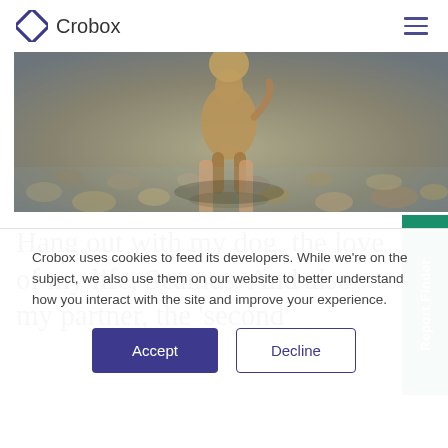Crobox
[Figure (photo): A dog standing in shallow water over pebbles/rocks, photographed from behind, with a person's legs visible. The water is clear and the ground is covered with smooth stones in warm sandy/brown tones.]
Hang out with my dog, the love of my life, Seamus. And also my partner, the 'second'
Crobox uses cookies to feed its developers. While we're on the subject, we also use them on our website to better understand how you interact with the site and improve your experience.